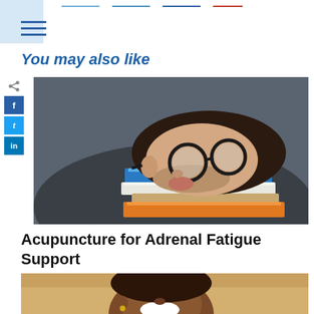Navigation header with menu icon and nav lines
You may also like
[Figure (illustration): Illustration of a man with glasses resting his head on a stack of books, on a dark gray background]
Acupuncture for Adrenal Fatigue Support
[Figure (photo): Photo of a smiling woman with natural hair, partially visible, warm sunny background]